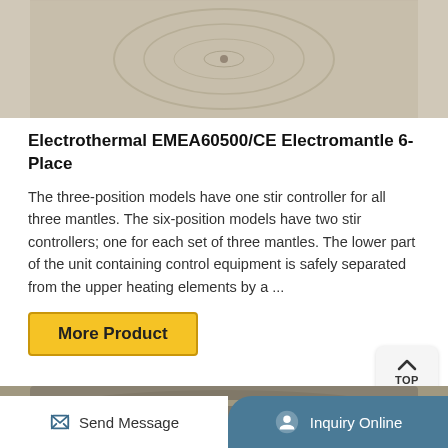[Figure (photo): Top portion of a heating mantle product photo showing textured fabric surface]
Electrothermal EMEA60500/CE Electromantle 6-Place
The three-position models have one stir controller for all three mantles. The six-position models have two stir controllers; one for each set of three mantles. The lower part of the unit containing control equipment is safely separated from the upper heating elements by a ...
[Figure (other): TOP navigation button with arrow icon]
More Product
[Figure (photo): Bottom portion of a heating mantle product showing the base]
Send Message   Inquiry Online